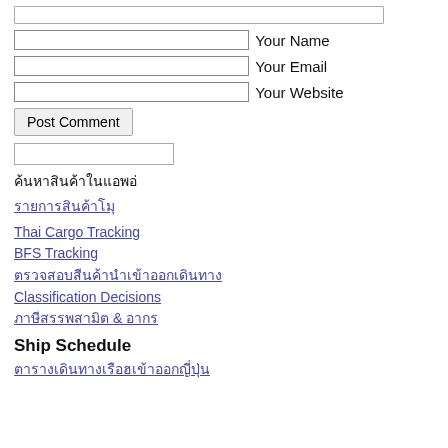[textarea stub at top]
Your Name
Your Email
Your Website
Post Comment
[search input box]
Thai text: sidebar section label
Thai link 1
Thai Cargo Tracking
BFS Tracking
Thai link 2 (long)
Classification Decisions
Thai link 3 with & symbol
Ship Schedule
Thai link 4 (long, bottom)